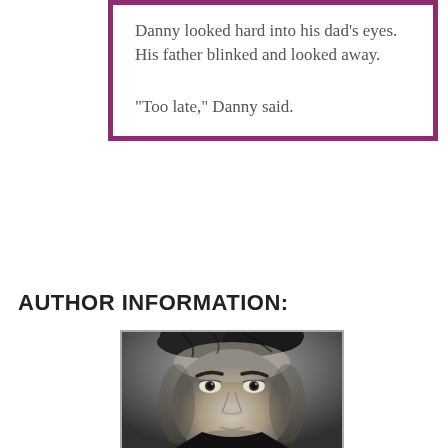Danny looked hard into his dad's eyes. His father blinked and looked away.

“Too late,” Danny said.
AUTHOR INFORMATION:
[Figure (photo): Black and white close-up portrait photo of a young man with dark hair, intense eyes looking upward, furrowed brow, nose and slightly parted lips visible.]